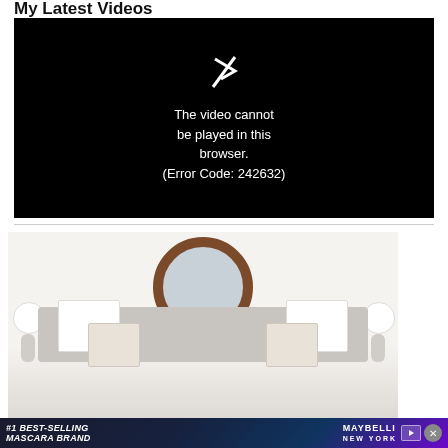My Latest Videos
[Figure (screenshot): Video player showing error: The video cannot be played in this browser. (Error Code: 242632)]
[Figure (photo): Bedroom interior with round wood-framed mirror, grey upholstered headboard, white pillows, and decorative throw pillows]
[Figure (screenshot): Advertisement banner: #1 Best-Selling Mascara Brand, Maybelline New York]